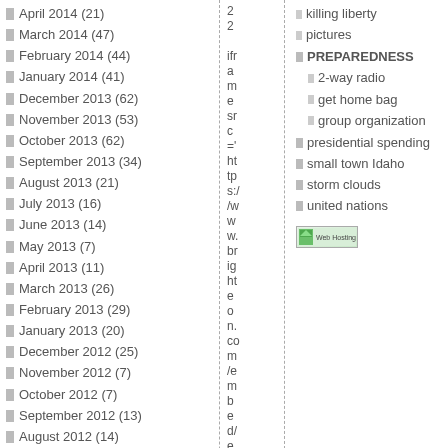April 2014 (21)
March 2014 (47)
February 2014 (44)
January 2014 (41)
December 2013 (62)
November 2013 (53)
October 2013 (62)
September 2013 (34)
August 2013 (21)
July 2013 (16)
June 2013 (14)
May 2013 (7)
April 2013 (11)
March 2013 (26)
February 2013 (29)
January 2013 (20)
December 2012 (25)
November 2012 (7)
October 2012 (7)
September 2012 (13)
August 2012 (14)
July 2012 (14)
June 2012 (7)
May 2012 (9)
April 2012 (8)
March 2012 (11)
February 2012 (9)
iframe src='https://www.brighteon.com/embed/e...
killing liberty
pictures
PREPAREDNESS
2-way radio
get home bag
group organization
presidential spending
small town Idaho
storm clouds
united nations
[Figure (illustration): Web Hosting link/banner image]